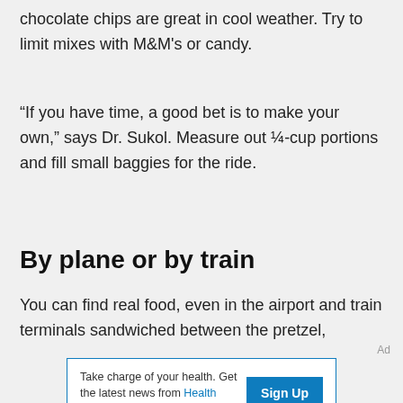chocolate chips are great in cool weather. Try to limit mixes with M&M's or candy.
“If you have time, a good bet is to make your own,” says Dr. Sukol. Measure out ¼-cup portions and fill small baggies for the ride.
By plane or by train
You can find real food, even in the airport and train terminals sandwiched between the pretzel,
Ad
Take charge of your health. Get the latest news from Health Essentials Sign Up